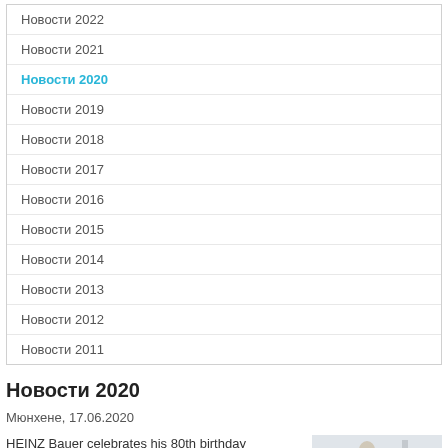Новости 2022
Новости 2021
Новости 2020
Новости 2019
Новости 2018
Новости 2017
Новости 2016
Новости 2015
Новости 2014
Новости 2013
Новости 2012
Новости 2011
Новости 2020
Мюнхене, 17.06.2020
HEINZ Bauer celebrates his 80th birthday
[Figure (photo): Elderly man in light suit standing outdoors with arms outstretched]